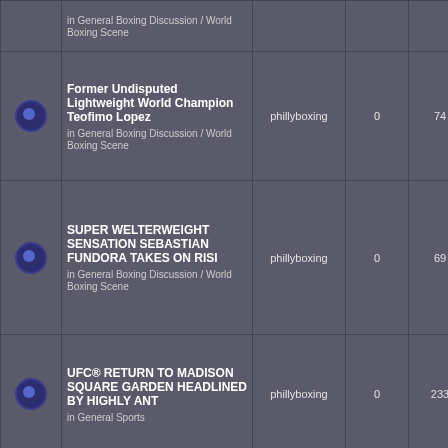|  | Topic | Author | Replies | Views | Last Post |
| --- | --- | --- | --- | --- | --- |
|  | in General Boxing Discussion / World Boxing Scene |  |  |  | ➜🗎 |
|  | Former Undisputed Lightweight World Champion Teofimo Lopez
in General Boxing Discussion / World Boxing Scene | phillyboxing | 0 | 74 | Wed Aug 24, 2022 11:00 am phillyboxing ➜🗎 |
|  | SUPER WELTERWEIGHT SENSATION SEBASTIAN FUNDORA TAKES ON RISI
in General Boxing Discussion / World Boxing Scene | phillyboxing | 0 | 69 | Wed Aug 24, 2022 10:53 am phillyboxing ➜🗎 |
|  | UFC® RETURN TO MADISON SQUARE GARDEN HEADLINED BY HIGHLY ANT
in General Sports | phillyboxing | 0 | 233 | Wed Aug 24, 2022 10:47 am phillyboxing ➜🗎 |
|  | LIGHTWEIGHT WORLD TITLE CONTENDER OSCAR DUARTE | phillyboxing | 0 | 95 | Wed Aug 24, 2022 4:27 am |